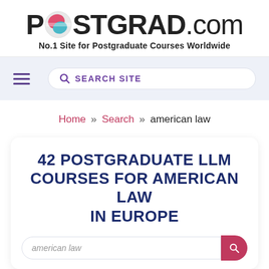[Figure (logo): POSTGRAD.com logo with circular globe icon replacing the letter O]
No.1 Site for Postgraduate Courses Worldwide
≡  🔍 SEARCH SITE
Home » Search » american law
42 POSTGRADUATE LLM COURSES FOR AMERICAN LAW IN EUROPE
american law